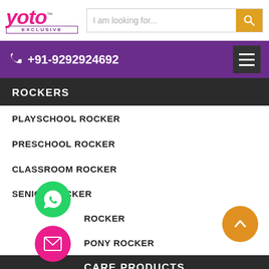[Figure (logo): Yoto Exclusive logo in pink cursive with TM mark and purple EXCLUSIVE text below]
I am looking for...
☎ +91-9292924692
ROCKERS
PLAYSCHOOL ROCKER
PRESCHOOL ROCKER
CLASSROOM ROCKER
SENIOR ROCKER
ROCKER
PONY ROCKER
CARE PRODUCTS
KIDS FACE MASK